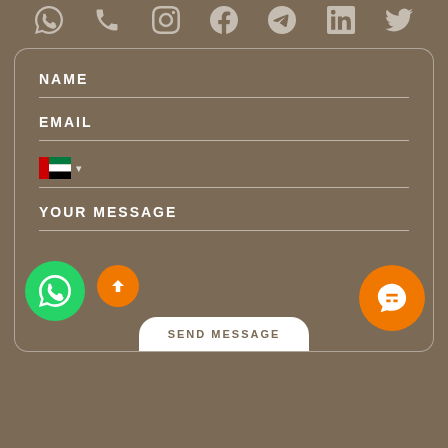[Figure (infographic): Row of social media icons at top: WhatsApp, phone, Instagram, Facebook, Telegram, LinkedIn, Twitter — white icons on brown background]
NAME
EMAIL
[Figure (infographic): UAE flag with dropdown arrow — phone country code selector]
YOUR MESSAGE
[Figure (infographic): WhatsApp green circle button, orange scroll-up circle button, orange chat circle button, and SEND MESSAGE white rounded button at bottom]